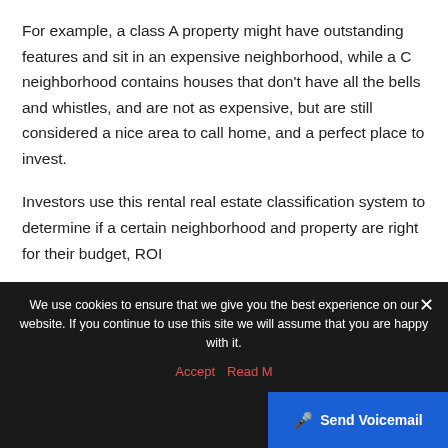For example, a class A property might have outstanding features and sit in an expensive neighborhood, while a C neighborhood contains houses that don't have all the bells and whistles, and are not as expensive, but are still considered a nice area to call home, and a perfect place to invest.
Investors use this rental real estate classification system to determine if a certain neighborhood and property are right for their budget, ROI
We use cookies to ensure that we give you the best experience on our website. If you continue to use this site we will assume that you are happy with it.
Accept  Read M...
Send Voicemail